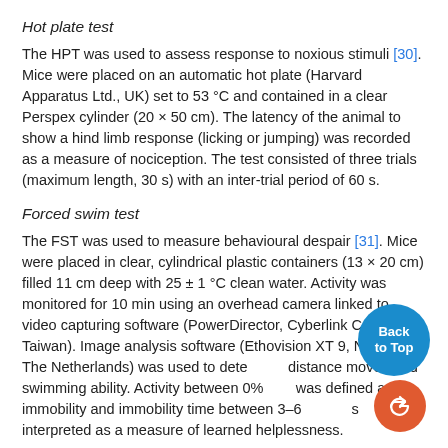Hot plate test
The HPT was used to assess response to noxious stimuli [30]. Mice were placed on an automatic hot plate (Harvard Apparatus Ltd., UK) set to 53 °C and contained in a clear Perspex cylinder (20 × 50 cm). The latency of the animal to show a hind limb response (licking or jumping) was recorded as a measure of nociception. The test consisted of three trials (maximum length, 30 s) with an inter-trial period of 60 s.
Forced swim test
The FST was used to measure behavioural despair [31]. Mice were placed in clear, cylindrical plastic containers (13 × 20 cm) filled 11 cm deep with 25 ± 1 °C clean water. Activity was monitored for 10 min using an overhead camera linked to video capturing software (PowerDirector, Cyberlink Corp, Taiwan). Image analysis software (Ethovision XT 9, Noldus, The Netherlands) was used to determine distance moved and swimming ability. Activity between 0% and was defined as immobility and immobility time between 3–6 min was interpreted as a measure of learned helplessness.
Blood Sera and Tissue Collection